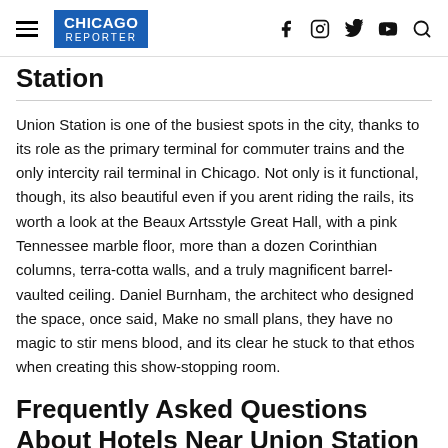CHICAGO REPORTER
Station
Union Station is one of the busiest spots in the city, thanks to its role as the primary terminal for commuter trains and the only intercity rail terminal in Chicago. Not only is it functional, though, its also beautiful even if you arent riding the rails, its worth a look at the Beaux Artsstyle Great Hall, with a pink Tennessee marble floor, more than a dozen Corinthian columns, terra-cotta walls, and a truly magnificent barrel-vaulted ceiling. Daniel Burnham, the architect who designed the space, once said, Make no small plans, they have no magic to stir mens blood, and its clear he stuck to that ethos when creating this show-stopping room.
Frequently Asked Questions About Hotels Near Union Station Chi...